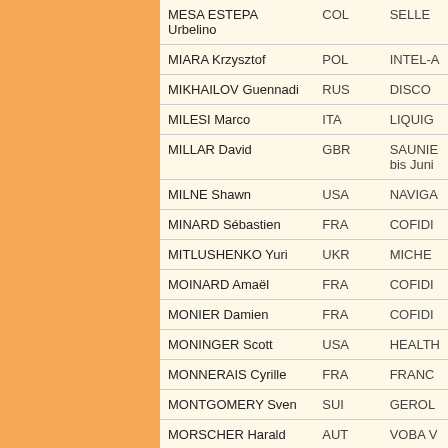| Name | Country | Team |
| --- | --- | --- |
| MESA ESTEPA Urbelino | COL | SELLE… |
| MIARA Krzysztof | POL | INTEL-A… |
| MIKHAILOV Guennadi | RUS | DISCO… |
| MILESI Marco | ITA | LIQUIG… |
| MILLAR David | GBR | SAUNIE… bis Juni… |
| MILNE Shawn | USA | NAVIGA… |
| MINARD Sébastien | FRA | COFIDI… |
| MITLUSHENKO Yuri | UKR | MICHE… |
| MOINARD Amaël | FRA | COFIDI… |
| MONIER Damien | FRA | COFIDI… |
| MONINGER Scott | USA | HEALTH… |
| MONNERAIS Cyrille | FRA | FRANC… |
| MONTGOMERY Sven | SUI | GEROL… |
| MORSCHER Harald | AUT | VOBA W… |
| MOSER Leonardo | ITA | ACQUA… |
| MOUREU … | FRA | FRA… |